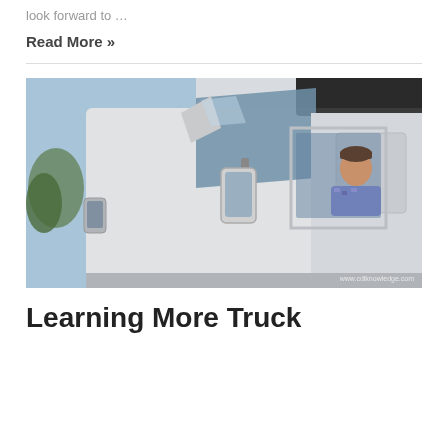look forward to …
Read More »
[Figure (photo): A truck driver sitting in the cab of a large white semi-truck, viewed from outside through the open window, with trees and sky in the background. Watermark: www.cdlknowledge.com]
Learning More Truck